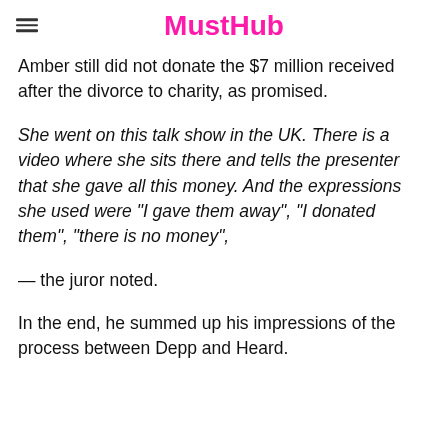MustHub
Amber still did not donate the $7 million received after the divorce to charity, as promised.
She went on this talk show in the UK. There is a video where she sits there and tells the presenter that she gave all this money. And the expressions she used were "I gave them away", "I donated them", "there is no money",
— the juror noted.
In the end, he summed up his impressions of the process between Depp and Heard.